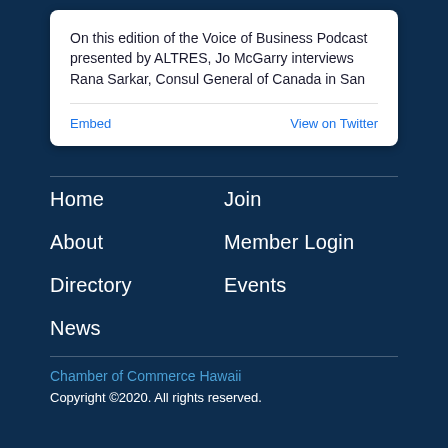On this edition of the Voice of Business Podcast presented by ALTRES, Jo McGarry interviews Rana Sarkar, Consul General of Canada in San
Embed
View on Twitter
Home
Join
About
Member Login
Directory
Events
News
Chamber of Commerce Hawaii
Copyright ©2020. All rights reserved.